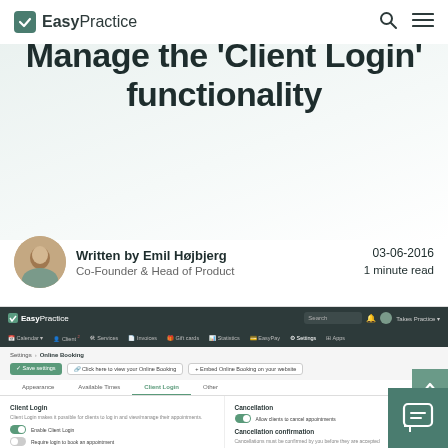EasyPractice
Manage the 'Client Login' functionality
Written by Emil Højbjerg
Co-Founder & Head of Product
03-06-2016
1 minute read
[Figure (screenshot): Screenshot of the EasyPractice web application showing the Settings > Online Booking page with tabs: Appearance, Available Times, Client Login (active), Other. The Client Login tab shows toggle options for enabling Client Login features. The right panel shows Cancellation and Cancellation confirmation settings.]